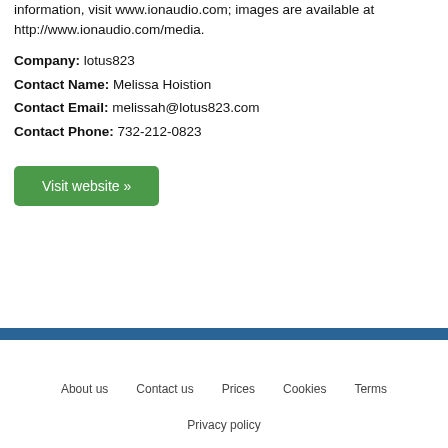information, visit www.ionaudio.com; images are available at http://www.ionaudio.com/media.
Company: lotus823
Contact Name: Melissa Hoistion
Contact Email: melissah@lotus823.com
Contact Phone: 732-212-0823
Visit website »
About us   Contact us   Prices   Cookies   Terms
Privacy policy